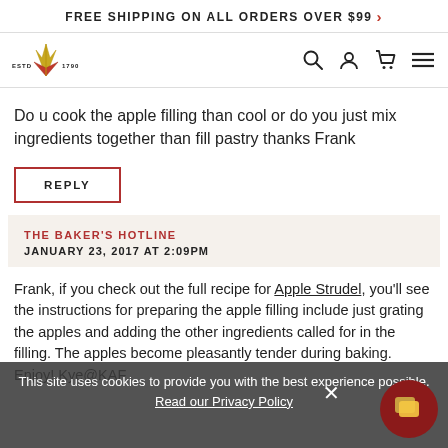FREE SHIPPING ON ALL ORDERS OVER $99 >
[Figure (logo): King Arthur Flour logo with crown and wheat, ESTD 1790]
Do u cook the apple filling than cool or do you just mix ingredients together than fill pastry thanks Frank
REPLY
THE BAKER'S HOTLINE
JANUARY 23, 2017 AT 2:09PM
Frank, if you check out the full recipe for Apple Strudel, you'll see the instructions for preparing the apple filling include just grating the apples and adding the other ingredients called for in the filling. The apples become pleasantly tender during baking. Enjoy! Kye@KAF
This site uses cookies to provide you with the best experience possible. Read our Privacy Policy